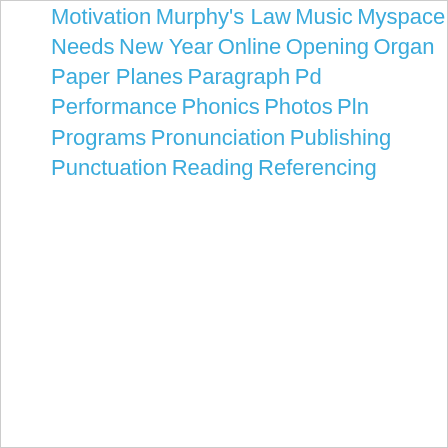Motivation
Murphy's Law
Music
Myspace
Needs
New Year
Online
Opening
Organ
Paper Planes
Paragraph
Pd
Performance
Phonics
Photos
Pln
Programs
Pronunciation
Publishing
Punctuation
Reading
Referencing